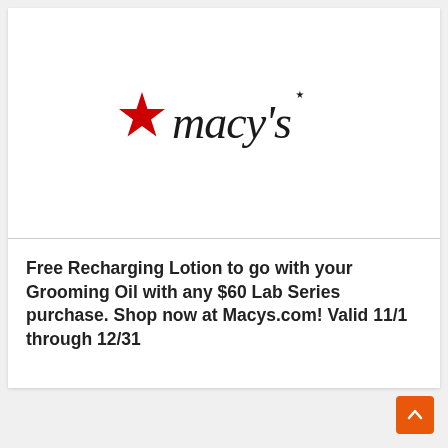[Figure (logo): Macy's logo with red star and stylized 'macy's' text in black]
Free Recharging Lotion to go with your Grooming Oil with any $60 Lab Series purchase. Shop now at Macys.com! Valid 11/1 through 12/31